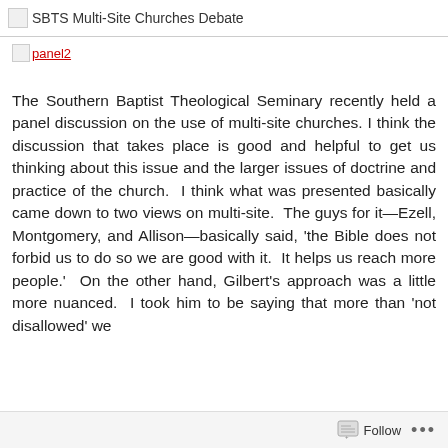SBTS Multi-Site Churches Debate
[Figure (other): panel2 image placeholder link]
The Southern Baptist Theological Seminary recently held a panel discussion on the use of multi-site churches. I think the discussion that takes place is good and helpful to get us thinking about this issue and the larger issues of doctrine and practice of the church.  I think what was presented basically came down to two views on multi-site.  The guys for it—Ezell, Montgomery, and Allison—basically said, 'the Bible does not forbid us to do so we are good with it.  It helps us reach more people.'  On the other hand, Gilbert's approach was a little more nuanced.  I took him to be saying that more than 'not disallowed' we
Follow